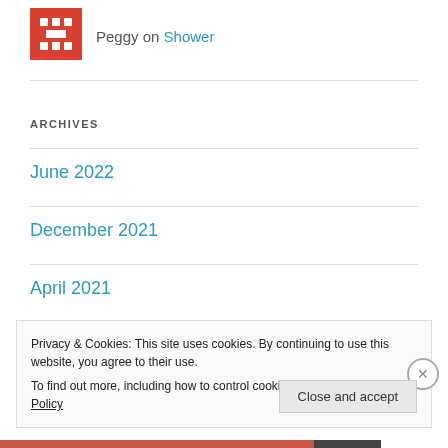[Figure (illustration): Red and white pixelated avatar image for user Peggy]
Peggy on Shower
ARCHIVES
June 2022
December 2021
April 2021
Privacy & Cookies: This site uses cookies. By continuing to use this website, you agree to their use.
To find out more, including how to control cookies, see here: Cookie Policy
Close and accept